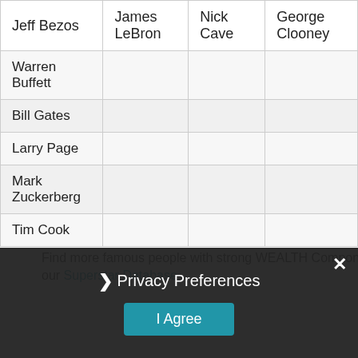| Jeff Bezos | James LeBron | Nick Cave | George Clooney |
| --- | --- | --- | --- |
| Warren Buffett |  |  |  |
| Bill Gates |  |  |  |
| Larry Page |  |  |  |
| Mark Zuckerberg |  |  |  |
| Tim Cook |  |  |  |
Find more famous people with strong WEALTH Component in our Superstar Database
Privacy Preferences
I Agree